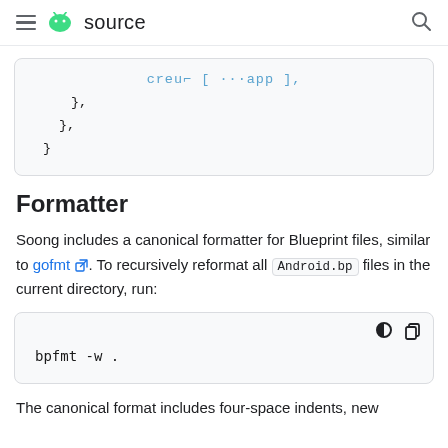source
[Figure (screenshot): Code block showing closing braces of a Blueprint/Soong build file snippet]
Formatter
Soong includes a canonical formatter for Blueprint files, similar to gofmt. To recursively reformat all Android.bp files in the current directory, run:
[Figure (screenshot): Code block showing: bpfmt -w .]
The canonical format includes four-space indents, new